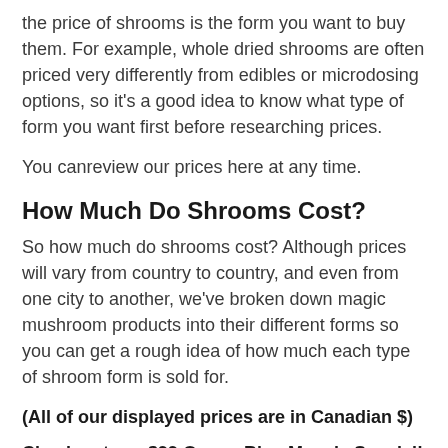the price of shrooms is the form you want to buy them. For example, whole dried shrooms are often priced very differently from edibles or microdosing options, so it's a good idea to know what type of form you want first before researching prices.
You canreview our prices here at any time.
How Much Do Shrooms Cost?
So how much do shrooms cost? Although prices will vary from country to country, and even from one city to another, we've broken down magic mushroom products into their different forms so you can get a rough idea of how much each type of shroom form is sold for.
(All of our displayed prices are in Canadian $)
Check out our $99 Ounce Blue Meanie Special!